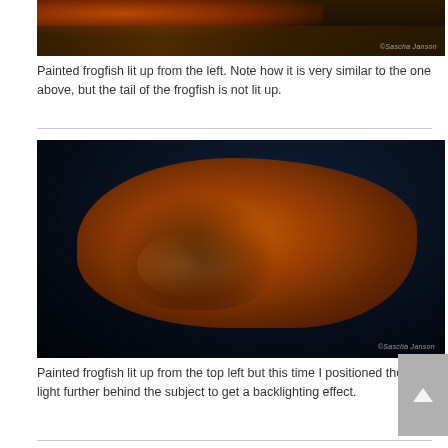[Figure (photo): Close-up photograph of a painted frogfish against dark background, lit from the left, showing orange and brown coloring with coral, watermark reads ©Sascha Janson]
Painted frogfish lit up from the left. Note how it is very similar to the one above, but the tail of the frogfish is not lit up.
[Figure (photo): Close-up underwater photograph of a painted frogfish lit from top left with backlighting effect, orange and dark brown coloring against deep blue water background, watermark reads ©Sascha Janson]
Painted frogfish lit up from the top left but this time I positioned the light further behind the subject to get a backlighting effect.